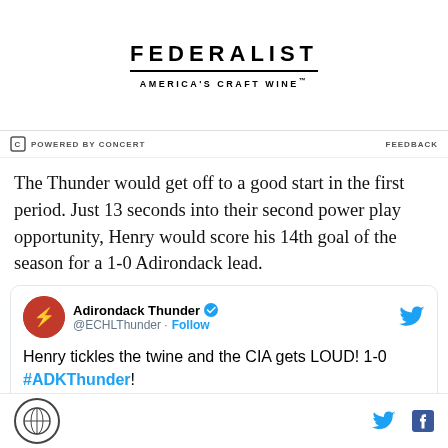[Figure (logo): Federalist America's Craft Wine advertisement banner]
POWERED BY CONCERT   FEEDBACK
The Thunder would get off to a good start in the first period. Just 13 seconds into their second power play opportunity, Henry would score his 14th goal of the season for a 1-0 Adirondack lead.
[Figure (screenshot): Tweet from @ECHLThunder (Adirondack Thunder): Henry tickles the twine and the CIA gets LOUD! 1-0 #ADKThunder!]
SB Nation logo, Twitter icon, Facebook icon